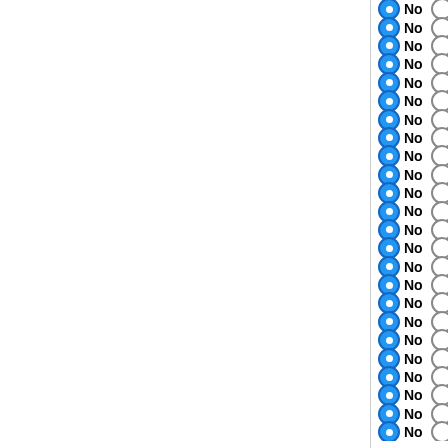No / Yes — Burkholderia pseudomallei B...
No / Yes — Burkholderia pseudomallei 1...
No / Yes — Burkholderia pseudomallei M...
No / Yes — Burkholderia pseudomallei 6...
No / Yes — Burkholderia pseudomallei 1...
No / Yes — Burkholderia pseudomallei K...
No / Yes — Burkholderia mallei NCTC 10...
No / Yes — Burkholderia mallei NCTC 10...
No / Yes — Burkholderia mallei ATCC 23...
No / Yes — Burkholderia lata
No / Yes — Burkholderia ambifaria MC40...
No / Yes — Burkholderia cenocepacia M...
No / Yes — Burkholderia cenocepacia AU...
No / Yes — Burkholderia cenocepacia J2...
No / Yes — Burkholderia multivorans ATC...
No / Yes — Variovorax paradoxus B4
No / Yes — Variovorax paradoxus EPS
No / Yes — Taylorella equigenitalis 14/56...
No / Yes — Taylorella equigenitalis ATCC...
No / Yes — Caulobacter crescentus CB1...
No / Yes — Zymomonas mobilis subsp. m...
No / Yes — Zymomonas mobilis subsp. m...
No / Yes — Zymomonas mobilis subsp. m...
No / Yes — Zymomonas mobilis subsp....